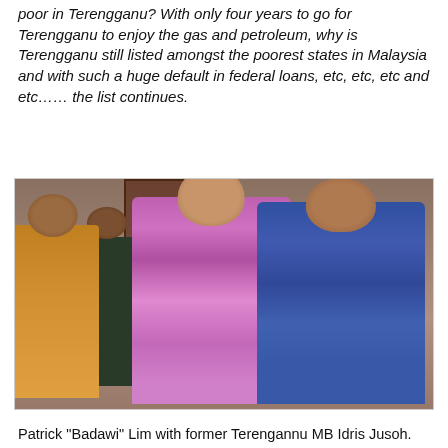poor in Terengganu? With only four years to go for Terengganu to enjoy the gas and petroleum, why is Terengganu still listed amongst the poorest states in Malaysia and with such a huge default in federal loans, etc, etc, etc and etc…… the list continues.
[Figure (photo): Two men smiling and posing together indoors. The man on the left wears a purple/magenta batik shirt. The man on the right wears a dark blue patterned batik shirt. In the background are other people including a man in a black suit with bow tie.]
Patrick "Badawi" Lim with former Terengannu MB Idris Jusoh.